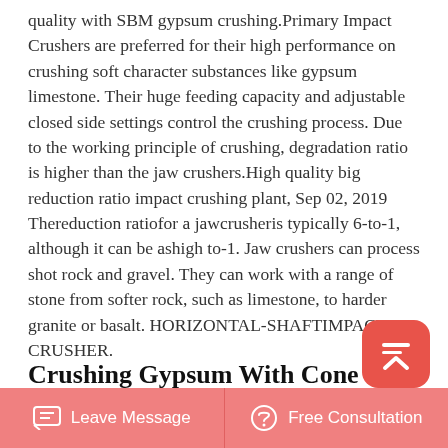quality with SBM gypsum crushing.Primary Impact Crushers are preferred for their high performance on crushing soft character substances like gypsum limestone. Their huge feeding capacity and adjustable closed side settings control the crushing process. Due to the working principle of crushing, degradation ratio is higher than the jaw crushers.High quality big reduction ratio impact crushing plant, Sep 02, 2019 Thereduction ratiofor a jawcrusheris typically 6-to-1, although it can be ashigh to-1. Jaw crushers can process shot rock and gravel. They can work with a range of stone from softer rock, such as limestone, to harder granite or basalt. HORIZONTAL-SHAFTIMPACT CRUSHER.
[Figure (other): Scroll-to-top button: rounded square red/pink button with upward chevron icon]
Crushing Gypsum With Cone Crusher
Gypsum fast rock crusher Watsons Creek antiques, 30000MT
Leave Message    Free Consultation